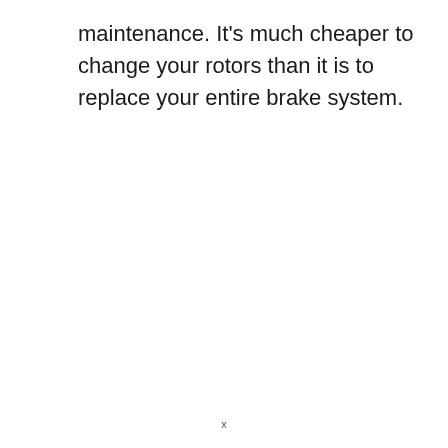maintenance. It’s much cheaper to change your rotors than it is to replace your entire brake system.
x